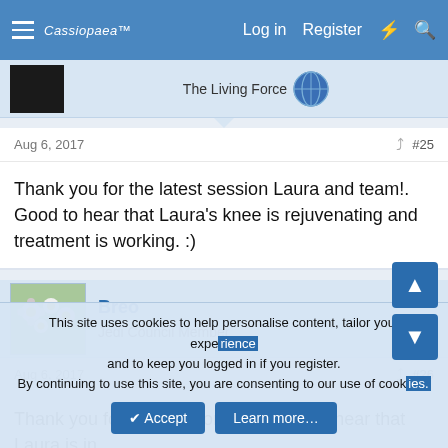Cassiopaea Log in Register
The Living Force
Aug 6, 2017  #25
Thank you for the latest session Laura and team!. Good to hear that Laura's knee is rejuvenating and treatment is working. :)
Breo
Jedi Council Member
Aug 6, 2017  #26
Thank you for this session. And good to hear that Laura is in
This site uses cookies to help personalise content, tailor your experience and to keep you logged in if you register.
By continuing to use this site, you are consenting to our use of cookies.
✔ Accept   Learn more…